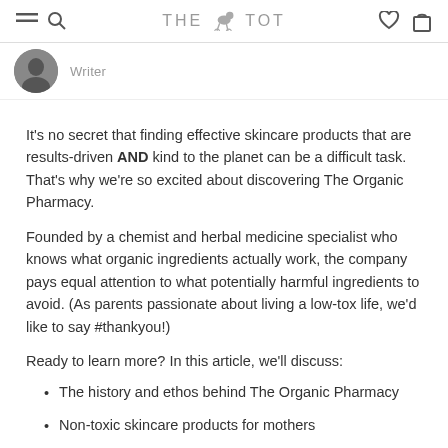THE TOT
Writer
It's no secret that finding effective skincare products that are results-driven AND kind to the planet can be a difficult task. That's why we're so excited about discovering The Organic Pharmacy.
Founded by a chemist and herbal medicine specialist who knows what organic ingredients actually work, the company pays equal attention to what potentially harmful ingredients to avoid. (As parents passionate about living a low-tox life, we'd like to say #thankyou!)
Ready to learn more? In this article, we'll discuss:
The history and ethos behind The Organic Pharmacy
Non-toxic skincare products for mothers